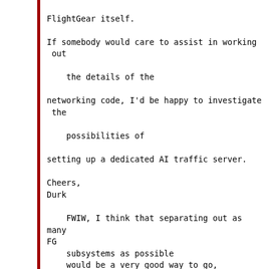FlightGear itself.

If somebody would care to assist in working out

    the details of the

networking code, I'd be happy to investigate the

    possibilities of

setting up a dedicated AI traffic server.

Cheers,
Durk

    FWIW, I think that separating out as many FG
    subsystems as possible
    would be a very good way to go, especially in
     view